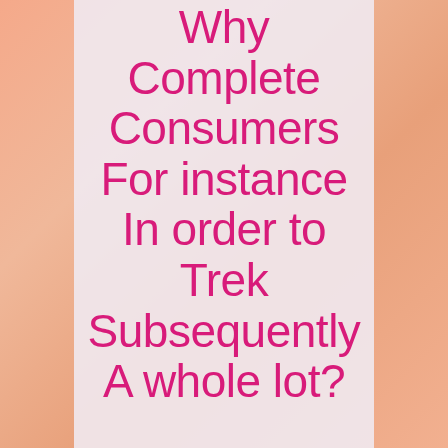Why Complete Consumers For instance In order to Trek Subsequently A whole lot?